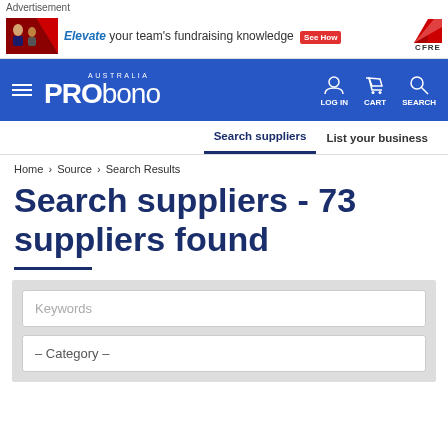Advertisement
[Figure (screenshot): Advertisement banner: 'Elevate your team's fundraising knowledge See How' with CFRE logo]
[Figure (logo): Pro Bono Australia navigation bar with LOG IN, CART, SEARCH icons]
Search suppliers   List your business
Home › Source › Search Results
Search suppliers - 73 suppliers found
Keywords
– Category –